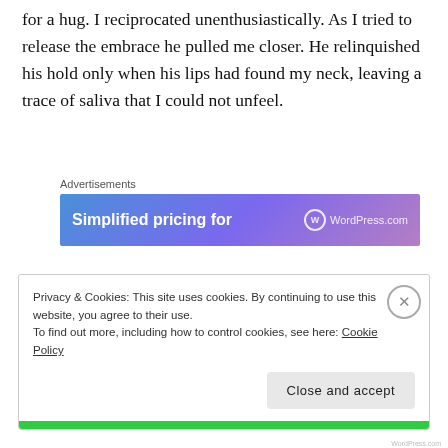for a hug. I reciprocated unenthusiastically. As I tried to release the embrace he pulled me closer. He relinquished his hold only when his lips had found my neck, leaving a trace of saliva that I could not unfeel.
[Figure (screenshot): Advertisement banner for WordPress.com with blue-purple gradient background. Shows text 'Simplified pricing for' and WordPress.com logo on the right.]
“Elias, can I talk to you?”
Privacy & Cookies: This site uses cookies. By continuing to use this website, you agree to their use.
To find out more, including how to control cookies, see here: Cookie Policy